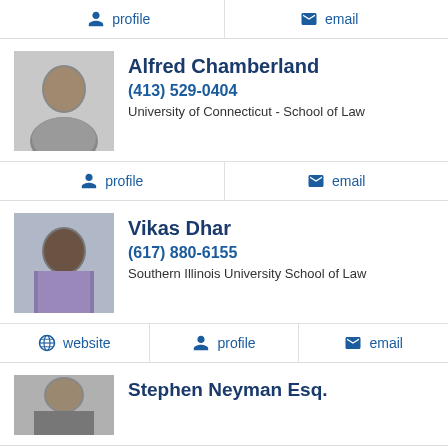profile
email
Alfred Chamberland
(413) 529-0404
University of Connecticut - School of Law
profile
email
Vikas Dhar
(617) 880-6155
Southern Illinois University School of Law
website
profile
email
Stephen Neyman Esq.